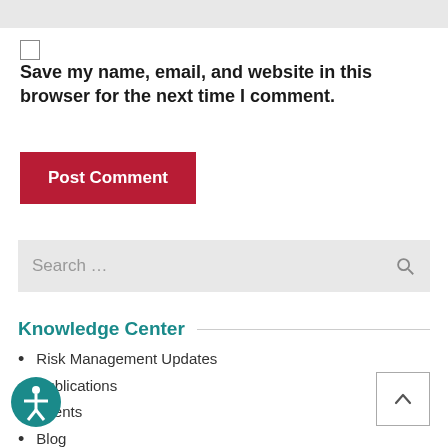[Figure (screenshot): Gray top bar, partially visible form element]
Save my name, email, and website in this browser for the next time I comment.
Post Comment
Search …
Knowledge Center
Risk Management Updates
Publications
Events
Blog
CCO Buzz Podcast